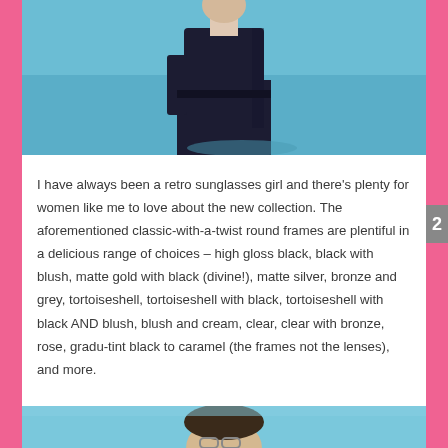[Figure (photo): Top portion of a person wearing a dark navy/black top, against a blue background, photographed from mid-torso up. Person appears to be posing.]
I have always been a retro sunglasses girl and there’s plenty for women like me to love about the new collection. The aforementioned classic-with-a-twist round frames are plentiful in a delicious range of choices – high gloss black, black with blush, matte gold with black (divine!), matte silver, bronze and grey, tortoiseshell, tortoiseshell with black, tortoiseshell with black AND blush, blush and cream, clear, clear with bronze, rose, gradu-tint black to caramel (the frames not the lenses), and more.
[Figure (photo): Bottom portion showing the top of a page with a person wearing glasses, partially visible at the bottom of the page.]